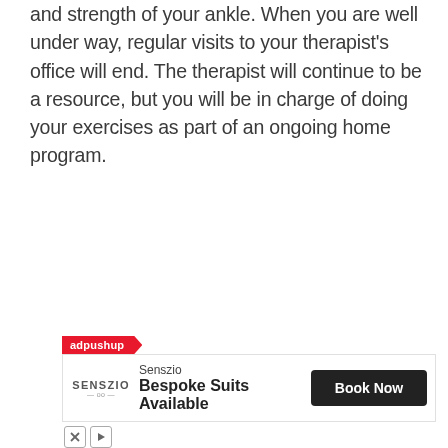and strength of your ankle. When you are well under way, regular visits to your therapist's office will end. The therapist will continue to be a resource, but you will be in charge of doing your exercises as part of an ongoing home program.
[Figure (other): Advertisement banner: adpushup logo badge, Senszio bespoke suits advertisement with 'Book Now' button, and ad control icons (X and play)]